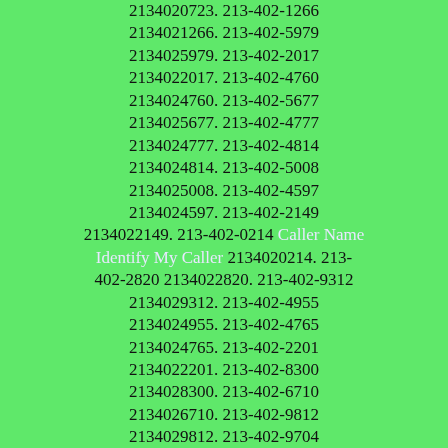2134020723. 213-402-1266 2134021266. 213-402-5979 2134025979. 213-402-2017 2134022017. 213-402-4760 2134024760. 213-402-5677 2134025677. 213-402-4777 2134024777. 213-402-4814 2134024814. 213-402-5008 2134025008. 213-402-4597 2134024597. 213-402-2149 2134022149. 213-402-0214 Caller Name Identify My Caller 2134020214. 213-402-2820 2134022820. 213-402-9312 2134029312. 213-402-4955 2134024955. 213-402-4765 2134024765. 213-402-2201 2134022201. 213-402-8300 2134028300. 213-402-6710 2134026710. 213-402-9812 2134029812. 213-402-9704 2134029704. 213-402-5138 2134025138. 213-402-8988 2134028988. 213-402-8952 2134028952. 213-402-2756 2134022756. 213-402-1228 2134021228. 213-402-6997